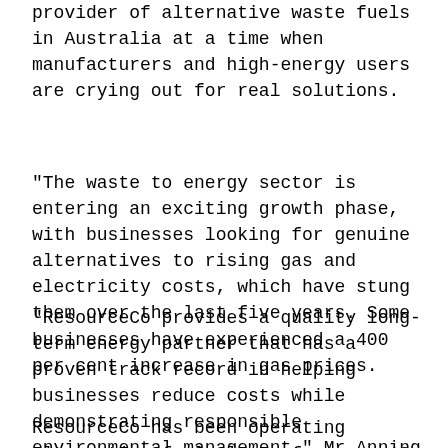provider of alternative waste fuels in Australia at a time when manufacturers and high-energy users are crying out for real solutions.
"The waste to energy sector is entering an exciting growth phase, with businesses looking for genuine alternatives to rising gas and electricity costs, which have stung them over the last five years. Some businesses have experienced a 400 per cent increase in gas prices.
"ResourceCo provides a quality long-term energy partner that has a proven track record in helping businesses reduce costs while demonstrating responsible environmental management," Mr Anning says.
ResourceCo has been operating alternative fuel plants for over 10 years and its with major companies including